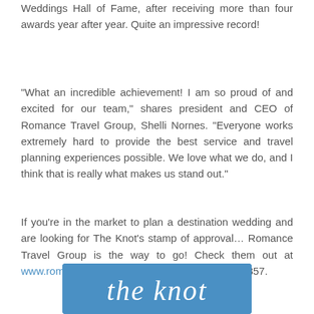Weddings Hall of Fame, after receiving more than four awards year after year. Quite an impressive record!
"What an incredible achievement! I am so proud of and excited for our team," shares president and CEO of Romance Travel Group, Shelli Nornes. "Everyone works extremely hard to provide the best service and travel planning experiences possible. We love what we do, and I think that is really what makes us stand out."
If you're in the market to plan a destination wedding and are looking for The Knot's stamp of approval… Romance Travel Group is the way to go! Check them out at www.romancetravelgroup.com, or call 507-267-4857.
[Figure (logo): The Knot logo — blue rectangle with white cursive text reading 'the knot']